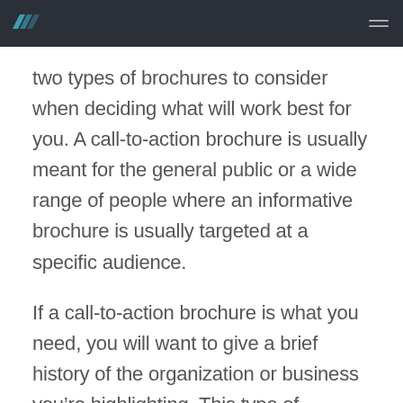two types of brochures to consider when deciding what will work best for you. A call-to-action brochure is usually meant for the general public or a wide range of people where an informative brochure is usually targeted at a specific audience.
If a call-to-action brochure is what you need, you will want to give a brief history of the organization or business you’re highlighting. This type of brochure generally is broad in scope. Your goal is to inspire a group to either join your organization or bring their business